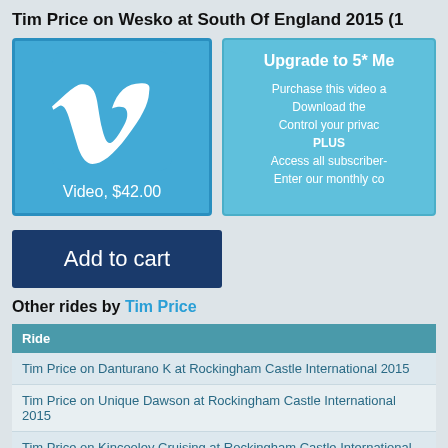Tim Price on Wesko at South Of England 2015 (1...
[Figure (logo): Vimeo logo on blue background with text 'Video, $42.00']
Upgrade to 5* Me
Purchase this video a
Download the
Control your privac
PLUS
Access all subscriber-
Enter our monthly co
Add to cart
Other rides by Tim Price
| Ride |
| --- |
| Tim Price on Danturano K at Rockingham Castle International 2015 |
| Tim Price on Unique Dawson at Rockingham Castle International 2015 |
| Tim Price on Kincooley Cruising at Rockingham Castle International 2015 |